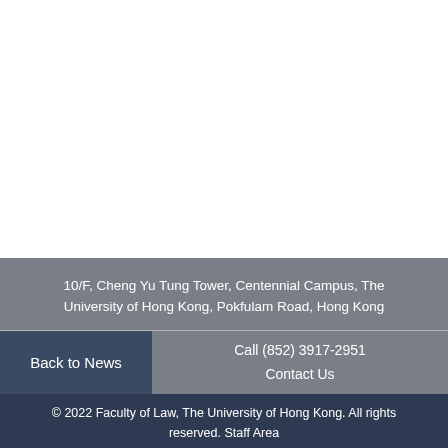10/F, Cheng Yu Tung Tower, Centennial Campus, The University of Hong Kong, Pokfulam Road, Hong Kong
Back to News
Call (852) 3917-2951
Contact Us
© 2022 Faculty of Law, The University of Hong Kong. All rights reserved. Staff Area